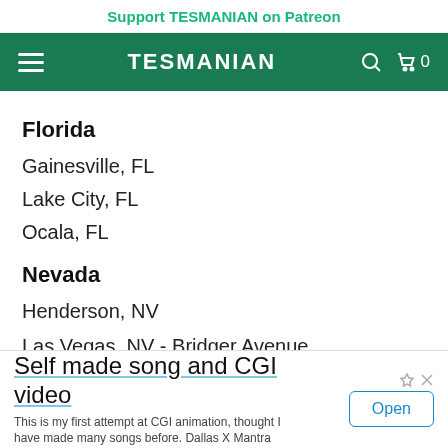Support TESMANIAN on Patreon
TESMANIAN
Florida
Gainesville, FL
Lake City, FL
Ocala, FL
Nevada
Henderson, NV
Las Vegas, NV - Bridger Avenue
Las Vegas, NV - Grand Central Parkway
Las Vegas, NV - High Roller at LINQ
Self made song and CGI video
This is my first attempt at CGI animation, thought I have made many songs before. Dallas X Mantra